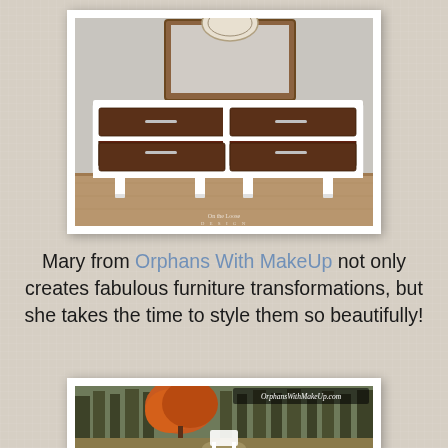[Figure (photo): A mid-century modern dresser with white painted frame and dark walnut drawer fronts, six drawers with chrome bar handles, white tapered legs, styled with a wood-framed mirror and decorative plate on top. Watermark reads 'On the Loose Design'.]
Mary from Orphans With MakeUp not only creates fabulous furniture transformations, but she takes the time to style them so beautifully!
[Figure (photo): An outdoor forest scene in autumn with colorful fall foliage, a white painted furniture piece visible in a wooded setting. Watermark reads 'OrphansWithMakeUp.com'.]